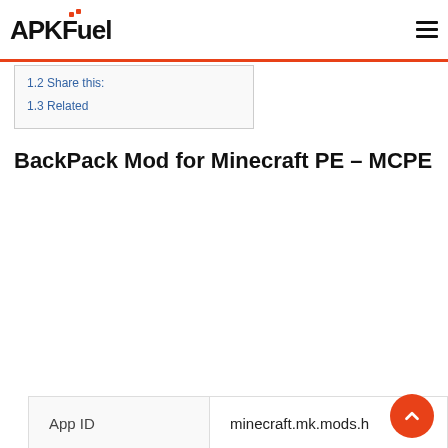APKFuel
1.2 Share this:
1.3 Related
BackPack Mod for Minecraft PE – MCPE
|  |  |
| --- | --- |
| App ID | minecraft.mk.mods.h |
| Size | 6.3 MB |
| Version | 2.2.8 |
| Updated | 2021-07-30 |
| Developer | Master Mod Minecraft |